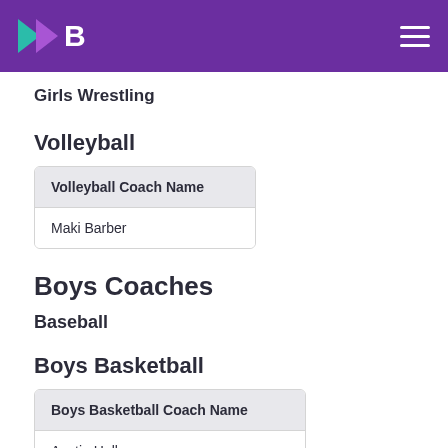Girls Wrestling
Volleyball
| Volleyball Coach Name |
| --- |
| Maki Barber |
Boys Coaches
Baseball
Boys Basketball
| Boys Basketball Coach Name |
| --- |
| Austin Halle |